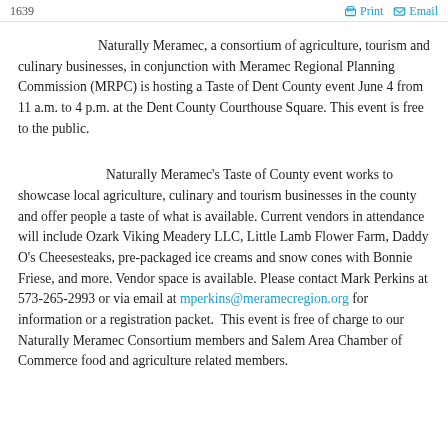1639   Print   Email
Naturally Meramec, a consortium of agriculture, tourism and culinary businesses, in conjunction with Meramec Regional Planning Commission (MRPC) is hosting a Taste of Dent County event June 4 from 11 a.m. to 4 p.m. at the Dent County Courthouse Square. This event is free to the public.
Naturally Meramec's Taste of County event works to showcase local agriculture, culinary and tourism businesses in the county and offer people a taste of what is available. Current vendors in attendance will include Ozark Viking Meadery LLC, Little Lamb Flower Farm, Daddy O's Cheesesteaks, pre-packaged ice creams and snow cones with Bonnie Friese, and more. Vendor space is available. Please contact Mark Perkins at 573-265-2993 or via email at mperkins@meramecregion.org for information or a registration packet. This event is free of charge to our Naturally Meramec Consortium members and Salem Area Chamber of Commerce food and agriculture related members.